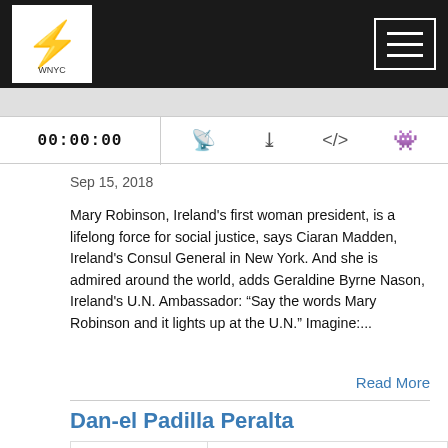WNYC/podcast website header with logo and hamburger menu
[Figure (screenshot): Audio player with time display 00:00:00 and icons for subscribe, download, embed, and headphones]
Sep 15, 2018
Mary Robinson, Ireland's first woman president, is a lifelong force for social justice, says Ciaran Madden, Ireland's Consul General in New York. And she is admired around the world, adds Geraldine Byrne Nason, Ireland's U.N. Ambassador: “Say the words Mary Robinson and it lights up at the U.N.” Imagine:...
Read More
Dan-el Padilla Peralta
[Figure (screenshot): Podcast episode card with play button, show name PERSON PLACE THING WITH RANDY COHEN, and episode title Dan-el Padilla Peralta]